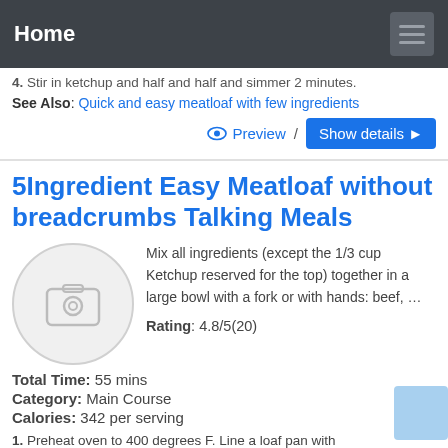Home
4. Stir in ketchup and half and half and simmer 2 minutes.
See Also: Quick and easy meatloaf with few ingredients
Preview / Show details
5Ingredient Easy Meatloaf without breadcrumbs Talking Meals
Mix all ingredients (except the 1/3 cup Ketchup reserved for the top) together in a large bowl with a fork or with hands: beef, …
Rating: 4.8/5(20)
Total Time: 55 mins
Category: Main Course
Calories: 342 per serving
1. Preheat oven to 400 degrees F. Line a loaf pan with